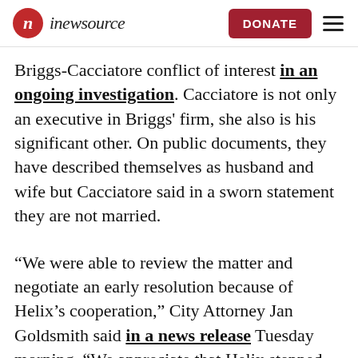inewsource | DONATE
Briggs-Cacciatore conflict of interest in an ongoing investigation. Cacciatore is not only an executive in Briggs' firm, she also is his significant other. On public documents, they have described themselves as husband and wife but Cacciatore said in a sworn statement they are not married.
“We were able to review the matter and negotiate an early resolution because of Helix’s cooperation,” City Attorney Jan Goldsmith said in a news release Tuesday morning. “We appreciate that Helix stepped up to ensure that San Diego